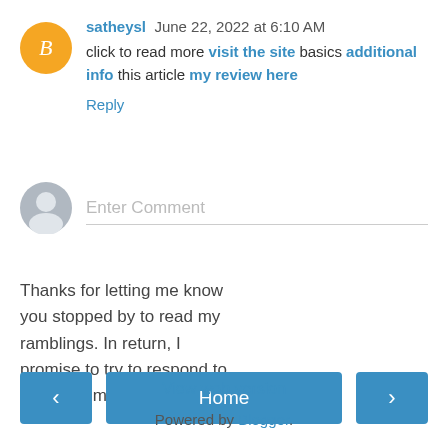satheysl June 22, 2022 at 6:10 AM
click to read more visit the site basics additional info this article my review here
Reply
[Figure (other): Enter Comment input field with gray avatar icon]
Thanks for letting me know you stopped by to read my ramblings. In return, I promise to try to respond to you in a timely fashion.
< Home > View web version Powered by Blogger.